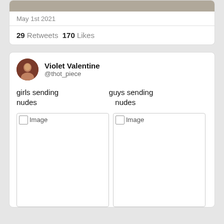[Figure (photo): Cropped top photo strip, gray/brown tones]
May 1st 2021
29 Retweets  170 Likes
Violet Valentine @thot_piece
girls sending nudes    guys sending nudes
[Figure (photo): Image placeholder (broken image icon) on left]
[Figure (photo): Image placeholder (broken image icon) on right]